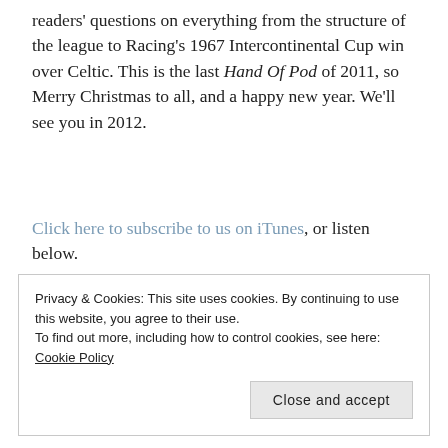readers' questions on everything from the structure of the league to Racing's 1967 Intercontinental Cup win over Celtic. This is the last Hand Of Pod of 2011, so Merry Christmas to all, and a happy new year. We'll see you in 2012.
Click here to subscribe to us on iTunes, or listen below.
Privacy & Cookies: This site uses cookies. By continuing to use this website, you agree to their use.
To find out more, including how to control cookies, see here: Cookie Policy